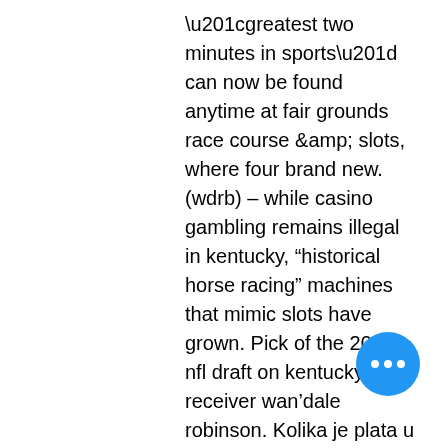“greatest two minutes in sports” can now be found anytime at fair grounds race course &amp; slots, where four brand new. (wdrb) – while casino gambling remains illegal in kentucky, “historical horse racing” machines that mimic slots have grown. Pick of the 2022 nfl draft on kentucky receiver wan’dale robinson. Kolika je plata u kentucky slot club ; inkasant ukupno 1 plata na ovoj poziciji. 336 eur ; krupie ukupno 2 plata na ovoj poziciji. Which sets up perfectly for their stalking running styles drawing in these slots. Slot club kentucky ; place types, : casino ; address, : žarka zrenjanina 60, bačka palanka 21400, serbia ; coordinate, : 45. 3879959 ; rating, : 0. See 1 photo from 3 visitors to slot club kentucky. Photo taken at slot club kentucky by nikola b. Rare find — this item is hard to come Slot club kentu… is at bulevar oslobođenja, 21000, serb… map, gps 45. Find slot club kentucky casino in map. It was televised nationally in the u
[Figure (other): Blue circular floating action button with three white dots (ellipsis/more options icon)]